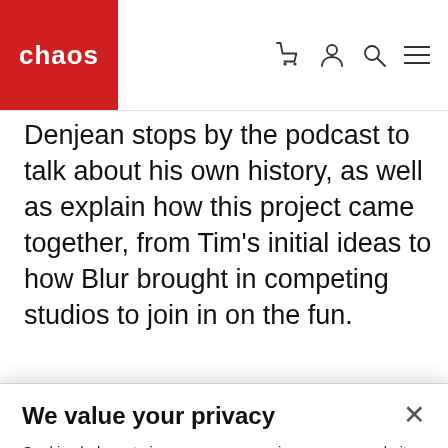chaos
Denjean stops by the podcast to talk about his own history, as well as explain how this project came together, from Tim's initial ideas to how Blur brought in competing studios to join in on the fun.
We value your privacy
Cookies help us to improve your experience on our website. We use cookies to personalize content, provide features, analyze web traffic and make our sites and services secure. Some of these cookies also help improve and track our marketing efforts
Cookies Settings
Accept All Cookies